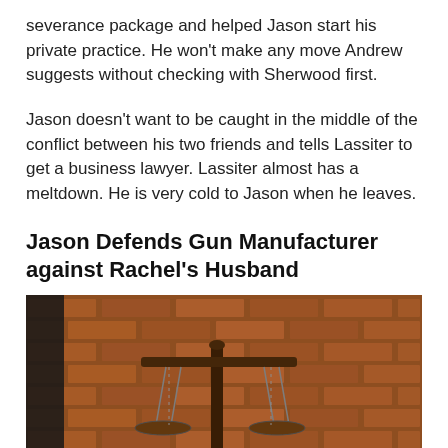severance package and helped Jason start his private practice. He won't make any move Andrew suggests without checking with Sherwood first.
Jason doesn't want to be caught in the middle of the conflict between his two friends and tells Lassiter to get a business lawyer. Lassiter almost has a meltdown. He is very cold to Jason when he leaves.
Jason Defends Gun Manufacturer against Rachel's Husband
[Figure (photo): Close-up photograph of a wooden scales of justice on a blurred brick wall background]